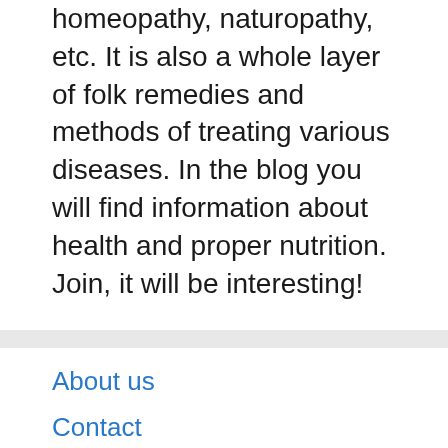homeopathy, naturopathy, etc. It is also a whole layer of folk remedies and methods of treating various diseases. In the blog you will find information about health and proper nutrition. Join, it will be interesting!
About us
Contact
Privacy Policy & Cookies
ATTENTION TO RIGHT HOLDERS! All materials are posted on the site strictly for informational and educational purposes! If you believe that the posting of any material infringes your copyright, be sure to contact